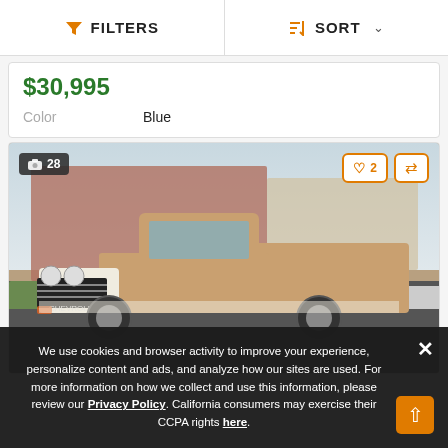FILTERS   SORT
$30,995
Color   Blue
[Figure (photo): Classic Chevrolet pickup truck (late 1950s/early 1960s), tan and white two-tone, parked in a parking lot. Photo badge shows 28 photos. Heart icon with 2 saves and compare icon in top right.]
We use cookies and browser activity to improve your experience, personalize content and ads, and analyze how our sites are used. For more information on how we collect and use this information, please review our Privacy Policy. California consumers may exercise their CCPA rights here.